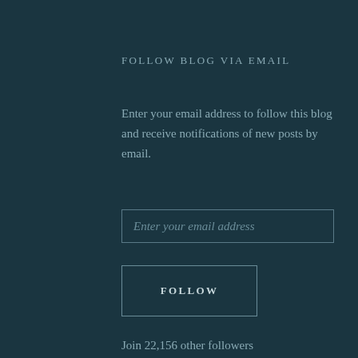FOLLOW BLOG VIA EMAIL
Enter your email address to follow this blog and receive notifications of new posts by email.
Enter your email address
FOLLOW
Join 22,156 other followers
FIREWORKS, FOOD, FUN, AND FRIENDS